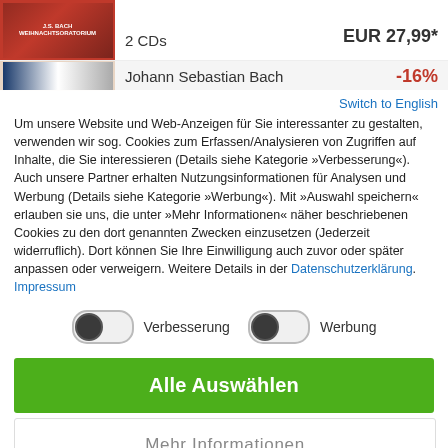[Figure (screenshot): Album cover thumbnail for J.S. Bach Weihnachtsoratorium, red background with white text]
2 CDs
EUR 27,99*
[Figure (screenshot): Second album cover thumbnail with blue and white design]
Johann Sebastian Bach
-16%
Switch to English
Um unsere Website und Web-Anzeigen für Sie interessanter zu gestalten, verwenden wir sog. Cookies zum Erfassen/Analysieren von Zugriffen auf Inhalte, die Sie interessieren (Details siehe Kategorie »Verbesserung«). Auch unsere Partner erhalten Nutzungsinformationen für Analysen und Werbung (Details siehe Kategorie »Werbung«). Mit »Auswahl speichern« erlauben sie uns, die unter »Mehr Informationen« näher beschriebenen Cookies zu den dort genannten Zwecken einzusetzen (Jederzeit widerruflich). Dort können Sie Ihre Einwilligung auch zuvor oder später anpassen oder verweigern. Weitere Details in der Datenschutzerklärung. Impressum
Verbesserung
Werbung
Alle Auswählen
Mehr Informationen
Nur notwendige Cookies